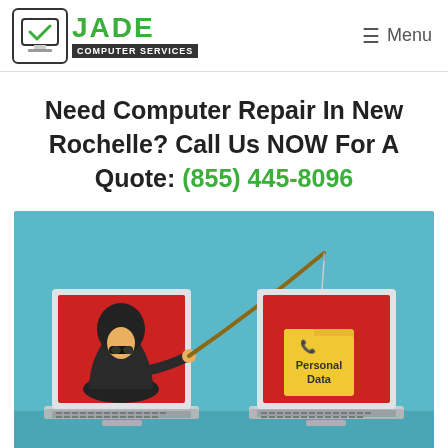JADE Computer Services — Menu
Need Computer Repair In New Rochelle? Call Us NOW For A Quote: (855) 445-8096
[Figure (illustration): Cybersecurity phishing concept illustration showing two laptops. Left laptop has a hooded hacker figure on its red screen holding a fishing rod. The rod extends to the right laptop which also has a red screen displaying a yellow file folder labeled 'Personal Data' hooked on the fishing line. Background is teal/blue.]